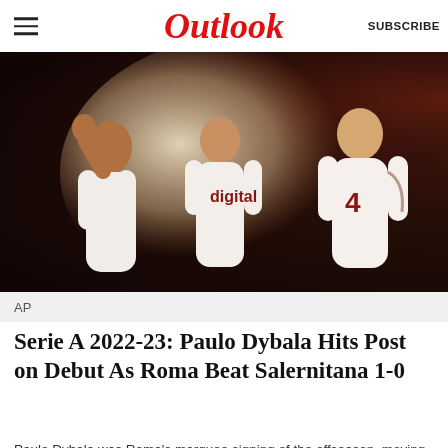Outlook  SUBSCRIBE
[Figure (photo): AS Roma football players in white jerseys celebrating, hugging each other on the field during a Serie A match]
AP
Serie A 2022-23: Paulo Dybala Hits Post on Debut As Roma Beat Salernitana 1-0
Paulo Dybala was Roma's marquee signing of the offseason, moving to the capital after his contract expired at Juventus.
15 August 2022
[Figure (photo): Dark stadium crowd scene, partially visible at the bottom of the page]